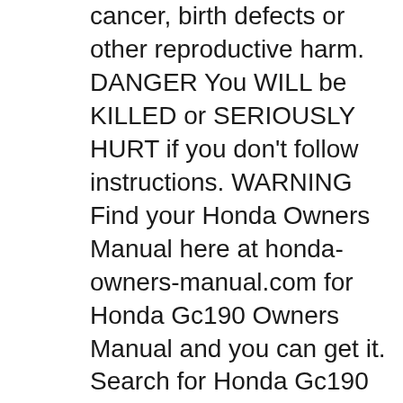cancer, birth defects or other reproductive harm. DANGER You WILL be KILLED or SERIOUSLY HURT if you don't follow instructions. WARNING Find your Honda Owners Manual here at honda-owners-manual.com for Honda Gc190 Owners Manual and you can get it. Search for Honda Gc190 Owners Manual here and subscribe honda-owners-manual.com Honda Gc190 Owners Manual read more!
Read Online Now honda gc160 engine owners manual Ebook PDF at our Library. Get honda gc160 engine owners manual PDF file for free from our online library PDF File: honda gc160 engine owners manual. to suit your own needs.